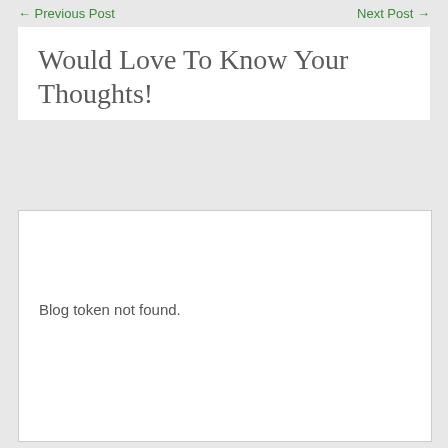← Previous Post    Next Post →
Would Love To Know Your Thoughts!
Blog token not found.